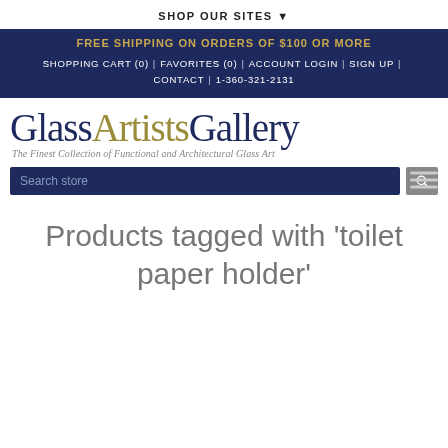SHOP OUR SITES ▼
FREE SHIPPING ON ORDERS OF $100 OR MORE
SHOPPING CART (0) | FAVORITES (0) | ACCOUNT LOGIN | SIGN UP | CONTACT | 1-360-321-2131
[Figure (logo): Glass Artists Gallery logo with tagline: The Finest Collection of Functional and Architectural Glass Art]
Search store
Products tagged with 'toilet paper holder'